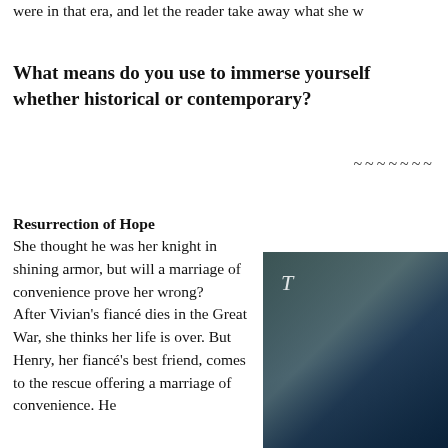were in that era, and let the reader take away what she w
What means do you use to immerse yourself whether historical or contemporary?
~~~~~~~
Resurrection of Hope
She thought he was her knight in shining armor, but will a marriage of convenience prove her wrong?
After Vivian's fiancé dies in the Great War, she thinks her life is over. But Henry, her fiancé's best friend, comes to the rescue offering a marriage of convenience. He
[Figure (photo): Book cover image, partially visible, showing a dark teal and brown toned background with italic script lettering]